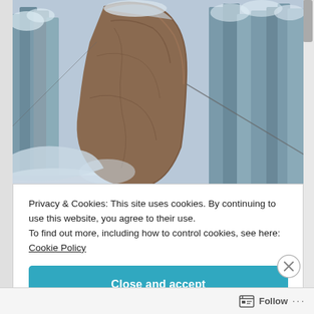[Figure (photo): A large boulder balanced on a narrow base in a snowy forest with snow-covered pine trees in the background, winter scene.]
Privacy & Cookies: This site uses cookies. By continuing to use this website, you agree to their use.
To find out more, including how to control cookies, see here:
Cookie Policy
Close and accept
Follow ...